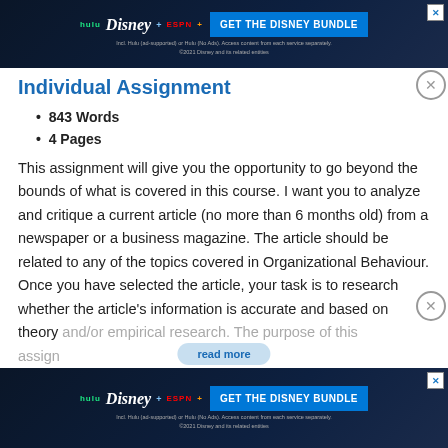[Figure (screenshot): Disney Bundle advertisement banner (top) showing Hulu, Disney+, ESPN+ logos and 'GET THE DISNEY BUNDLE' button on dark background. Fine print: Incl. Hulu (ad-supported) or Hulu (No Ads). Access content from each service separately. ©2021 Disney and its related entities]
Individual Assignment
843 Words
4 Pages
This assignment will give you the opportunity to go beyond the bounds of what is covered in this course. I want you to analyze and critique a current article (no more than 6 months old) from a newspaper or a business magazine. The article should be related to any of the topics covered in Organizational Behaviour. Once you have selected the article, your task is to research whether the article's information is accurate and based on theory and/or empirical research. The purpose of this assign…
[Figure (screenshot): Disney Bundle advertisement banner (bottom) showing Hulu, Disney+, ESPN+ logos and 'GET THE DISNEY BUNDLE' button on dark background. Fine print: Incl. Hulu (ad-supported) or Hulu (No Ads). Access content from each service separately. ©2021 Disney and its related entities]